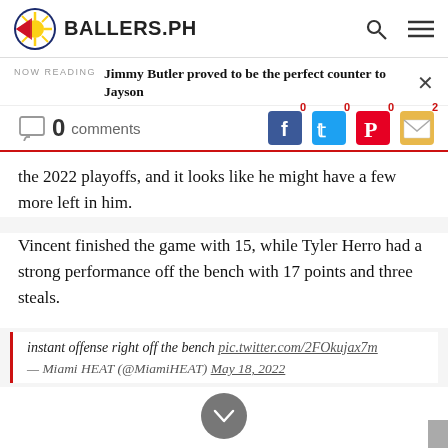BALLERS.PH
NOW READING  Jimmy Butler proved to be the perfect counter to Jayson
0 comments  0  0  0  2
the 2022 playoffs, and it looks like he might have a few more left in him.
Vincent finished the game with 15, while Tyler Herro had a strong performance off the bench with 17 points and three steals.
instant offense right off the bench pic.twitter.com/2FOkujax7m
— Miami HEAT (@MiamiHEAT) May 18, 2022
Bam Adebayo may not have had the strongest